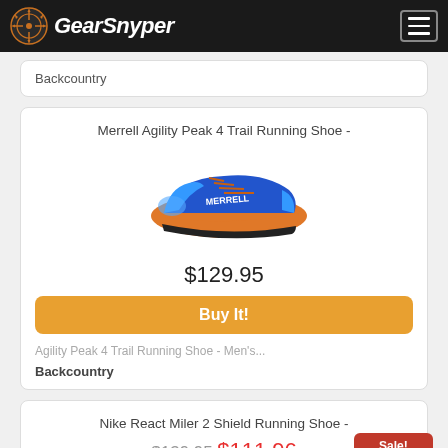GearSnyper
Backcountry
Merrell Agility Peak 4 Trail Running Shoe -
[Figure (photo): Blue and orange Merrell Agility Peak 4 trail running shoe facing right, with MERRELL branding on the side, blue upper and orange sole accents.]
$129.95
Buy It!
Agility Peak 4 Trail Running Shoe - Men's...
Backcountry
Nike React Miler 2 Shield Running Shoe -
$139.95  $111.96
Sale!
Save 20%